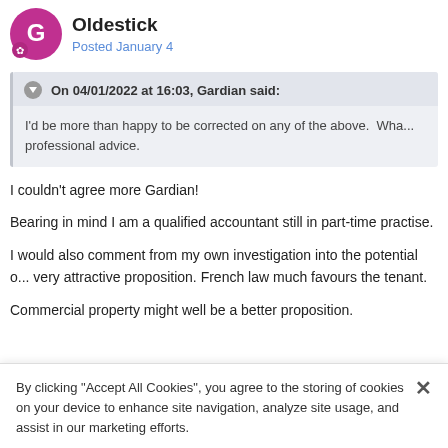Oldestick
Posted January 4
On 04/01/2022 at 16:03, Gardian said:
I'd be more than happy to be corrected on any of the above.  Wha... professional advice.
I couldn't agree more Gardian!
Bearing in mind I am a qualified accountant still in part-time practise.
I would also comment from my own investigation into the potential o... very attractive proposition. French law much favours the tenant.
Commercial property might well be a better proposition.
By clicking “Accept All Cookies”, you agree to the storing of cookies on your device to enhance site navigation, analyze site usage, and assist in our marketing efforts.